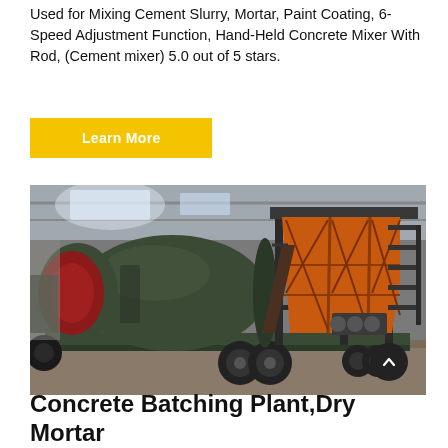Used for Mixing Cement Slurry, Mortar, Paint Coating, 6-Speed Adjustment Function, Hand-Held Concrete Mixer With Rod, (Cement mixer) 5.0 out of 5 stars.
Learn More
[Figure (photo): Industrial concrete batching plant / dry mortar plant on a trailer, photographed inside a large warehouse/factory. The machine features a large dark green cylindrical drum with a red circular opening on the left, and orange rectangular hoppers/bins on the right side supported by a metal frame structure with stairs. The trailer has dual rear wheels.]
Concrete Batching Plant,Dry Mortar